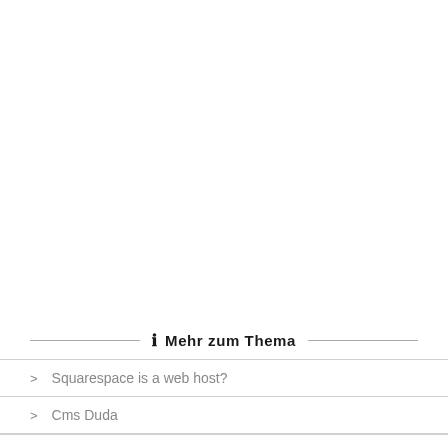Mehr zum Thema
Squarespace is a web host?
Cms Duda